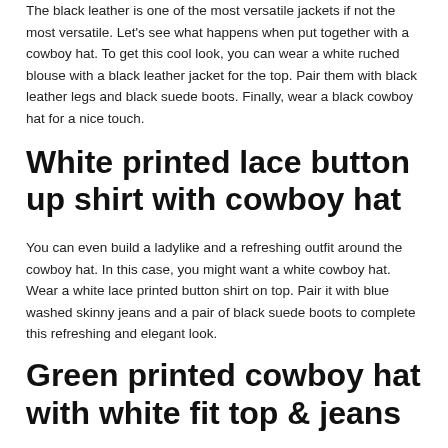The black leather is one of the most versatile jackets if not the most versatile. Let's see what happens when put together with a cowboy hat. To get this cool look, you can wear a white ruched blouse with a black leather jacket for the top. Pair them with black leather legs and black suede boots. Finally, wear a black cowboy hat for a nice touch.
White printed lace button up shirt with cowboy hat
You can even build a ladylike and a refreshing outfit around the cowboy hat. In this case, you might want a white cowboy hat. Wear a white lace printed button shirt on top. Pair it with blue washed skinny jeans and a pair of black suede boots to complete this refreshing and elegant look.
Green printed cowboy hat with white fit top & jeans